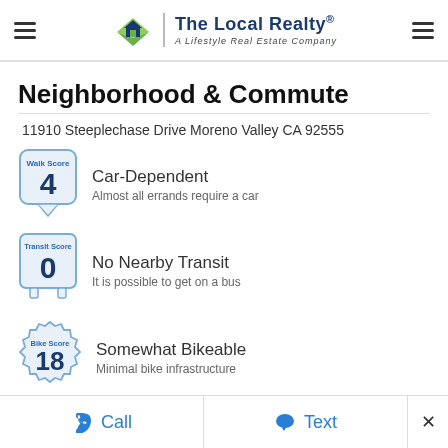The Local Realty® A Lifestyle Real Estate Company
Neighborhood & Commute
11910 Steeplechase Drive Moreno Valley CA 92555
[Figure (infographic): Walk Score badge showing score of 4, Car-Dependent, Almost all errands require a car]
[Figure (infographic): Transit Score badge showing score of 0, No Nearby Transit, It is possible to get on a bus]
[Figure (infographic): Bike Score badge showing score of 18, Somewhat Bikeable, Minimal bike infrastructure]
The Walk Score here is 4 out of 100 based on these categories. View a map of what's nearby.
Call   Text